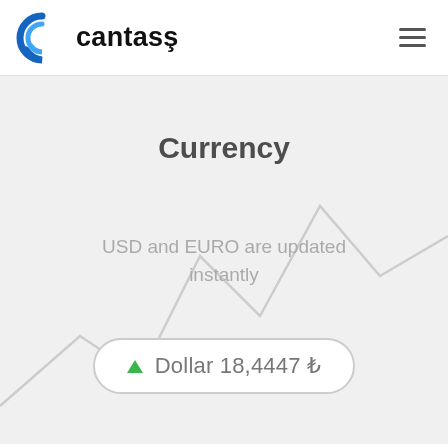[Figure (logo): Cantaş logo with blue C icon and bold black text 'cantaş']
Currency
USD and EURO are updated instantly
▲ Dollar 18,4447 ₺